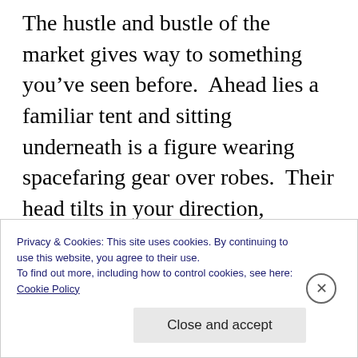The hustle and bustle of the market gives way to something you've seen before.  Ahead lies a familiar tent and sitting underneath is a figure wearing spacefaring gear over robes.  Their head tilts in your direction, acknowledging your presence and expecting reaction.  Upon getting closer, the creature straightens its back as it lifts from the ground with seemingly little effort.  Facing you, they extend a cloth covered arm in greeting, it is Zam'dul the Plane Traveler.  The thick breathing from a chamber
Privacy & Cookies: This site uses cookies. By continuing to use this website, you agree to their use.
To find out more, including how to control cookies, see here:
Cookie Policy
Close and accept